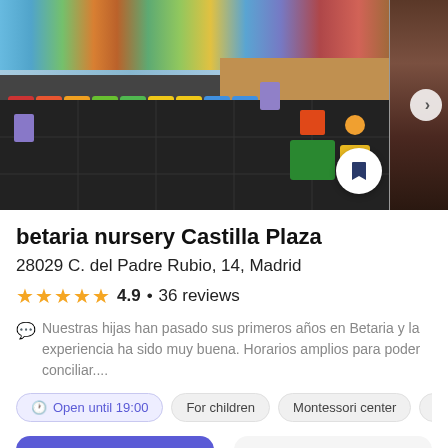[Figure (photo): Interior photo of betaria nursery Castilla Plaza showing a children's play area with colorful fences, small chairs, dark rubber floor tiles, and a colorful mural on the wall.]
betaria nursery Castilla Plaza
28029 C. del Padre Rubio, 14, Madrid
★★★★★ 4.9 • 36 reviews
Nuestras hijas han pasado sus primeros años en Betaria y la experiencia ha sido muy buena. Horarios amplios para poder conciliar....
Open until 19:00  For children  Montessori center  Early develop
Call  On a map